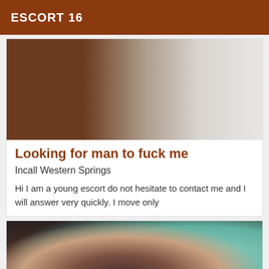ESCORT 16
[Figure (photo): Blurred close-up photo with brown and grey tones]
Looking for man to fuck me
Incall Western Springs
Hi I am a young escort do not hesitate to contact me and I will answer very quickly. I move only
[Figure (photo): Photo of a woman with dark hair in a car]